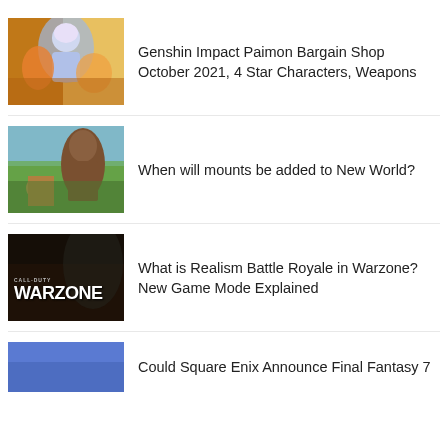[Figure (photo): Genshin Impact anime artwork thumbnail]
Genshin Impact Paimon Bargain Shop October 2021, 4 Star Characters, Weapons
[Figure (photo): New World game bear and player character thumbnail]
When will mounts be added to New World?
[Figure (photo): Call of Duty Warzone game thumbnail]
What is Realism Battle Royale in Warzone? New Game Mode Explained
[Figure (photo): Final Fantasy 7 thumbnail (partial)]
Could Square Enix Announce Final Fantasy 7